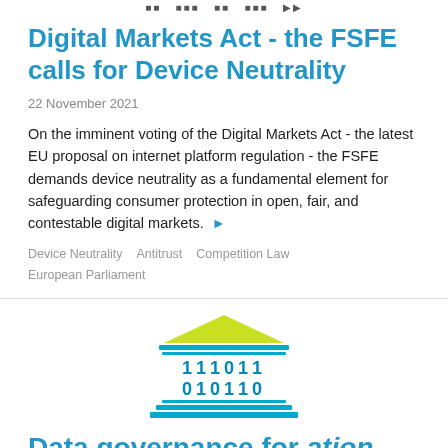[navigation icons]
Digital Markets Act - the FSFE calls for Device Neutrality
22 November 2021
On the imminent voting of the Digital Markets Act - the latest EU proposal on internet platform regulation - the FSFE demands device neutrality as a fundamental element for safeguarding consumer protection in open, fair, and contestable digital markets.
Device Neutrality   Antitrust   Competition Law   European Parliament
[Figure (illustration): Stylized building icon resembling a government/parliament building with a yellow-green triangular roof, cyan/blue horizontal lines as columns, binary digits '111011' and '010110' in blue in the center, and cyan horizontal base lines at the bottom.]
Data governance for ation